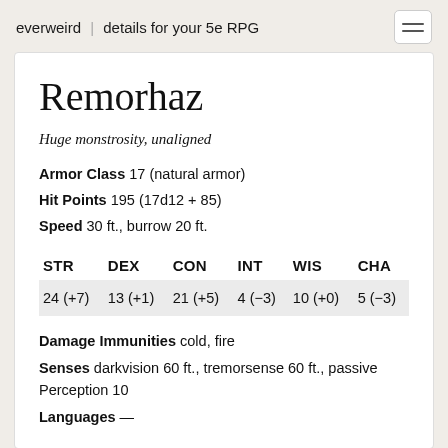everweird | details for your 5e RPG
Remorhaz
Huge monstrosity, unaligned
Armor Class 17 (natural armor)
Hit Points 195 (17d12 + 85)
Speed 30 ft., burrow 20 ft.
| STR | DEX | CON | INT | WIS | CHA |
| --- | --- | --- | --- | --- | --- |
| 24 (+7) | 13 (+1) | 21 (+5) | 4 (−3) | 10 (+0) | 5 (−3) |
Damage Immunities cold, fire
Senses darkvision 60 ft., tremorsense 60 ft., passive Perception 10
Languages —